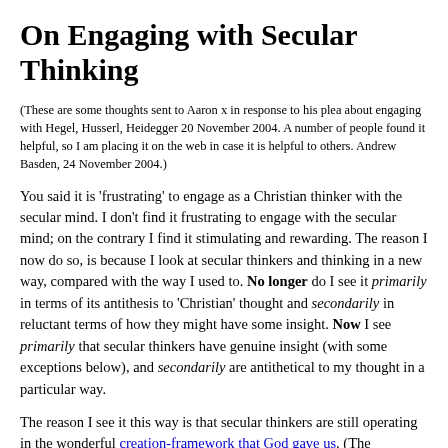On Engaging with Secular Thinking
(These are some thoughts sent to Aaron x in response to his plea about engaging with Hegel, Husserl, Heidegger 20 November 2004. A number of people found it helpful, so I am placing it on the web in case it is helpful to others. Andrew Basden, 24 November 2004.)
You said it is 'frustrating' to engage as a Christian thinker with the secular mind. I don't find it frustrating to engage with the secular mind; on the contrary I find it stimulating and rewarding. The reason I now do so, is because I look at secular thinkers and thinking in a new way, compared with the way I used to. No longer do I see it primarily in terms of its antithesis to 'Christian' thought and secondarily in reluctant terms of how they might have some insight. Now I see primarily that secular thinkers have genuine insight (with some exceptions below), and secondarily are antithetical to my thought in a particular way.
The reason I see it this way is that secular thinkers are still operating in the wonderful creation-framework that God gave us. (The exceptions are when the secular thinker is arrogantly and proudly pushing their own views, solutions, proposals. All of us have these sins.) But most